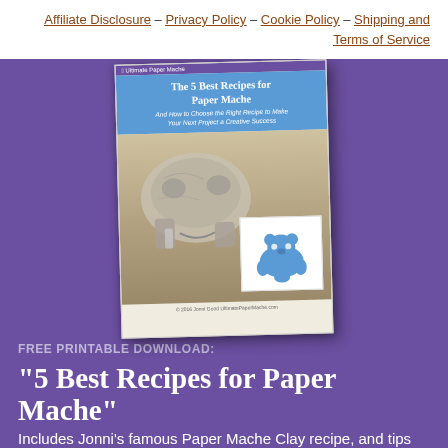Affiliate Disclosure – Privacy Policy – Cookie Policy – Shipping and Terms of Service
[Figure (illustration): Book cover for 'The 5 Best Recipes for Paper Mache' showing paper mache sculptures including an elephant skull and a blue hippo, displayed against a purple background]
FREE PRINTABLE DOWNLOAD:
"5 Best Recipes for Paper Mache"
Includes Jonni's famous Paper Mache Clay recipe, and tips on choosing the right